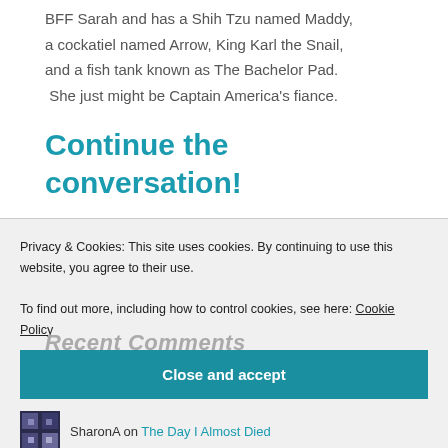BFF Sarah and has a Shih Tzu named Maddy, a cockatiel named Arrow, King Karl the Snail, and a fish tank known as The Bachelor Pad. She just might be Captain America's fiance.
Continue the conversation!
Privacy & Cookies: This site uses cookies. By continuing to use this website, you agree to their use. To find out more, including how to control cookies, see here: Cookie Policy
Close and accept
SharonA on The Day I Almost Died